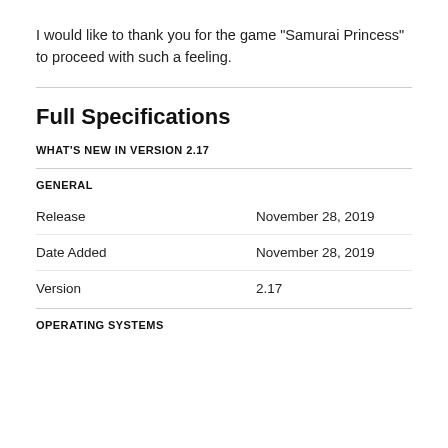I would like to thank you for the game "Samurai Princess" to proceed with such a feeling.
Full Specifications
WHAT'S NEW IN VERSION 2.17
GENERAL
|  |  |
| --- | --- |
| Release | November 28, 2019 |
| Date Added | November 28, 2019 |
| Version | 2.17 |
OPERATING SYSTEMS